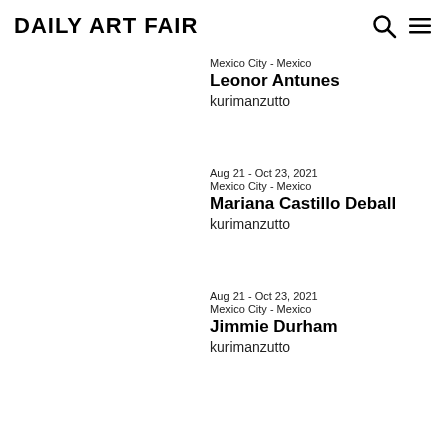Daily Art Fair
Mexico City - Mexico
Leonor Antunes
kurimanzutto
Aug 21 - Oct 23, 2021
Mexico City - Mexico
Mariana Castillo Deball
kurimanzutto
Aug 21 - Oct 23, 2021
Mexico City - Mexico
Jimmie Durham
kurimanzutto